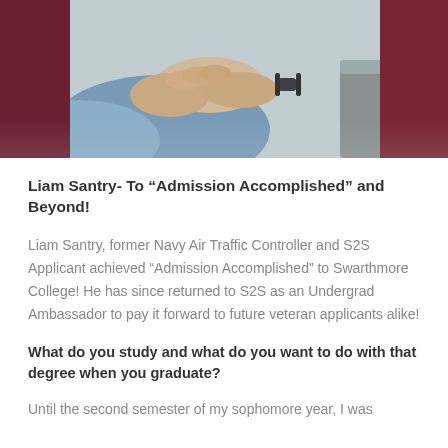[Figure (photo): Partial photo of a person seated, showing folded hands on lap, wearing jeans and a dark maroon shirt, with a smartwatch visible. A gray table or surface is in the background.]
Liam Santry- To “Admission Accomplished” and Beyond!
Liam Santry, former Navy Air Traffic Controller and S2S Applicant achieved “Admission Accomplished” to Swarthmore College! He has since returned to S2S as an Undergrad Ambassador to pay it forward to future veteran applicants alike!
What do you study and what do you want to do with that degree when you graduate?
Until the second semester of my sophomore year, I was